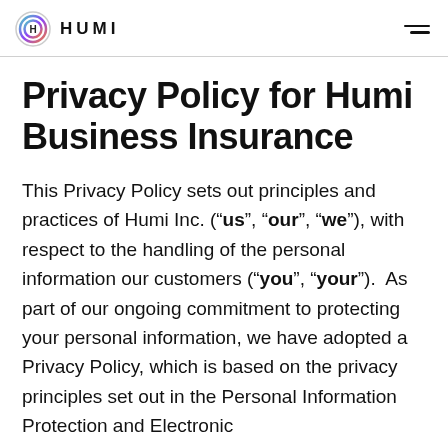HUMI
Privacy Policy for Humi Business Insurance
This Privacy Policy sets out principles and practices of Humi Inc. (“us”, “our”, “we”), with respect to the handling of the personal information our customers (“you”, “your”).  As part of our ongoing commitment to protecting your personal information, we have adopted a Privacy Policy, which is based on the privacy principles set out in the Personal Information Protection and Electronic